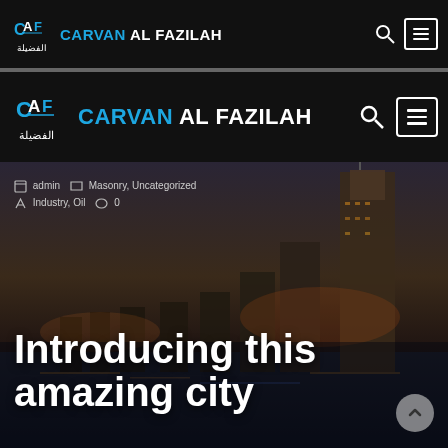CARVAN AL FAZILAH - Navigation bar (top, small)
CARVAN AL FAZILAH - Navigation bar (second, large)
[Figure (screenshot): Hero image of a city skyline (Dubai marina) at dusk with skyscrapers, waterfront lights, dark sky]
admin  Masonry, Uncategorized  Industry, Oil  0
Introducing this amazing city